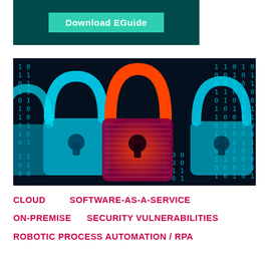[Figure (illustration): Dark teal/green banner with a green button labeled 'Download EGuide']
[Figure (photo): Digital security photo showing multiple padlocks in cyan/blue neon light with one red/orange padlock in the center, surrounded by binary digits 1 and 0 on a dark background]
CLOUD    SOFTWARE-AS-A-SERVICE
ON-PREMISE     SECURITY VULNERABILITIES
ROBOTIC PROCESS AUTOMATION / RPA